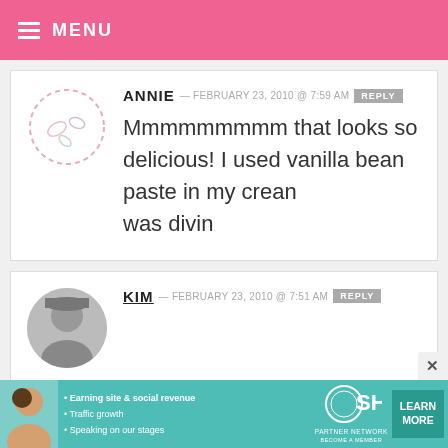MENU
ANNIE — FEBRUARY 23, 2010 @ 7:59 AM REPLY
Mmmmmmmmm that looks so delicious! I used vanilla bean paste in my crean
was divin
KIM — FEBRUARY 23, 2010 @ 7:51 AM REPLY
[Figure (infographic): SHE Partner Network advertisement banner with bullet points: Earning site & social revenue, Traffic growth, Speaking on our stages. LEARN MORE button on right.]